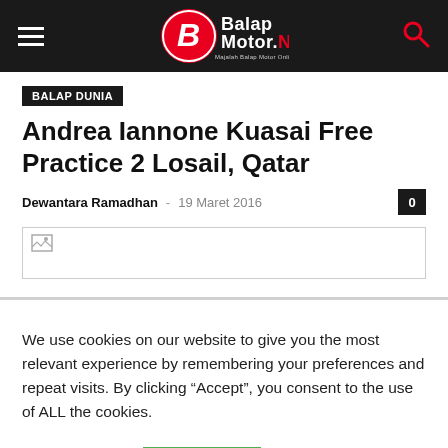BaLapMotor.Net — Majalah Balap Motor Online
BALAP DUNIA
Andrea Iannone Kuasai Free Practice 2 Losail, Qatar
Dewantara Ramadhan — 19 Maret 2016
[Figure (photo): Broken/missing image placeholder for article photo]
We use cookies on our website to give you the most relevant experience by remembering your preferences and repeat visits. By clicking "Accept", you consent to the use of ALL the cookies.
Cookie settings   ACCEPT